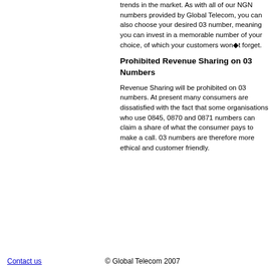trends in the market. As with all of our NGN numbers provided by Global Telecom, you can also choose your desired 03 number, meaning you can invest in a memorable number of your choice, of which your customers won't forget.
Prohibited Revenue Sharing on 03 Numbers
Revenue Sharing will be prohibited on 03 numbers. At present many consumers are dissatisfied with the fact that some organisations who use 0845, 0870 and 0871 numbers can claim a share of what the consumer pays to make a call. 03 numbers are therefore more ethical and customer friendly.
Contact us   © Global Telecom 2007